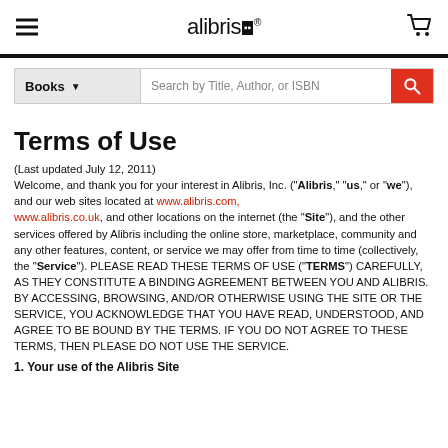alibris
Terms of Use
(Last updated July 12, 2011)
Welcome, and thank you for your interest in Alibris, Inc. ("Alibris," "us," or "we"), and our web sites located at www.alibris.com, www.alibris.co.uk, and other locations on the internet (the "Site"), and the other services offered by Alibris including the online store, marketplace, community and any other features, content, or service we may offer from time to time (collectively, the "Service"). PLEASE READ THESE TERMS OF USE ("TERMS") CAREFULLY, AS THEY CONSTITUTE A BINDING AGREEMENT BETWEEN YOU AND ALIBRIS. BY ACCESSING, BROWSING, AND/OR OTHERWISE USING THE SITE OR THE SERVICE, YOU ACKNOWLEDGE THAT YOU HAVE READ, UNDERSTOOD, AND AGREE TO BE BOUND BY THE TERMS. IF YOU DO NOT AGREE TO THESE TERMS, THEN PLEASE DO NOT USE THE SERVICE.
1. Your use of the Alibris Site